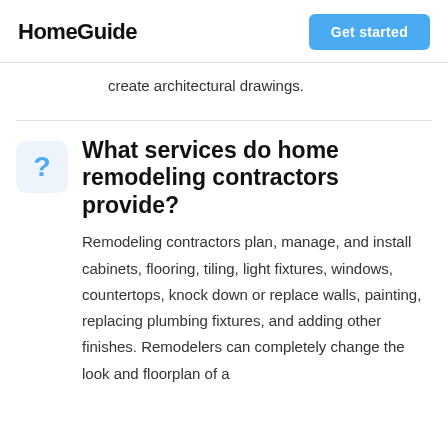HomeGuide
create architectural drawings.
What services do home remodeling contractors provide?
Remodeling contractors plan, manage, and install cabinets, flooring, tiling, light fixtures, windows, countertops, knock down or replace walls, painting, replacing plumbing fixtures, and adding other finishes. Remodelers can completely change the look and floorplan of a